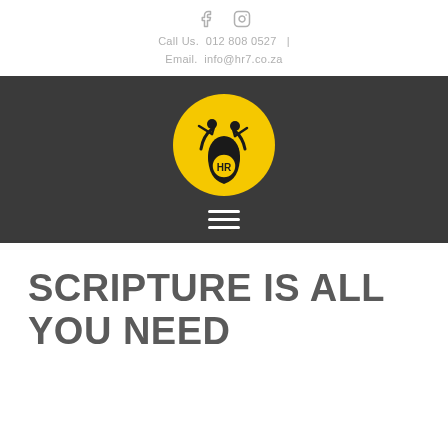Call Us.  012 808 0527  |  Email.  info@hr7.co.za
[Figure (logo): HR7 company logo: yellow circle with two stylized human figures raising arms above a teardrop shape with HR text inside, on dark gray background]
SCRIPTURE IS ALL YOU NEED